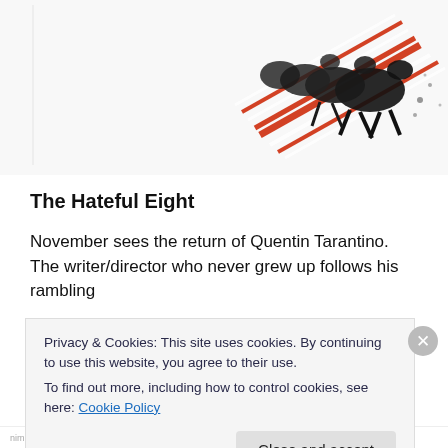[Figure (photo): Black and white illustration of horses pulling a carriage or wagon at speed, partially visible with a red and white striped element, on a white background.]
The Hateful Eight
November sees the return of Quentin Tarantino. The writer/director who never grew up follows his rambling
Privacy & Cookies: This site uses cookies. By continuing to use this website, you agree to their use.
To find out more, including how to control cookies, see here: Cookie Policy